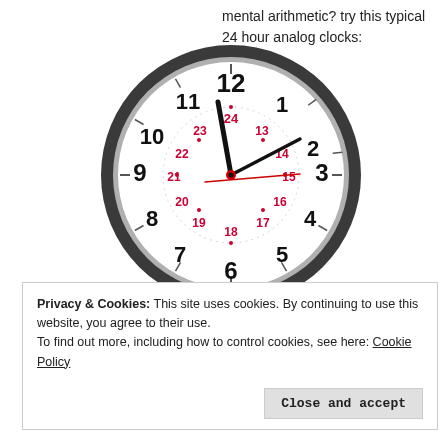mental arithmetic? try this typical 24 hour analog clocks:
[Figure (photo): A 24-hour analog wall clock with both standard 1-12 hour numbers in large black font on the outer ring, and inner red 13-24 hour numbers. The clock has a dark gray/black round frame with white face. Clock hands show approximately 11:51 with a red seconds hand.]
Privacy & Cookies: This site uses cookies. By continuing to use this website, you agree to their use.
To find out more, including how to control cookies, see here: Cookie Policy
Close and accept